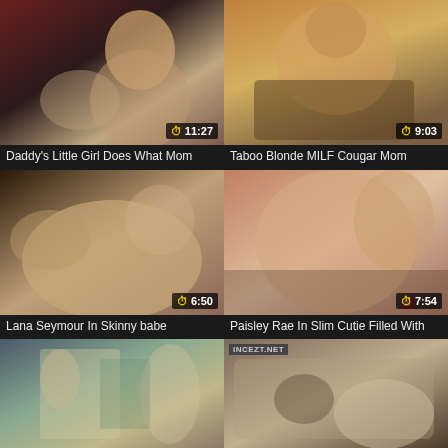[Figure (photo): Video thumbnail 1 - bedroom scene]
Daddy's Little Girl Does What Mom
[Figure (photo): Video thumbnail 2 - close up scene]
Taboo Blonde MILF Cougar Mom
[Figure (photo): Video thumbnail 3 - Lana Seymour]
Lana Seymour In Skinny babe
[Figure (photo): Video thumbnail 4 - Paisley Rae]
Paisley Rae In Slim Cutie Filled With
[Figure (photo): Video thumbnail 5 - indoor scene]
[Figure (photo): Video thumbnail 6 - couch scene with INCEZT.NET watermark]